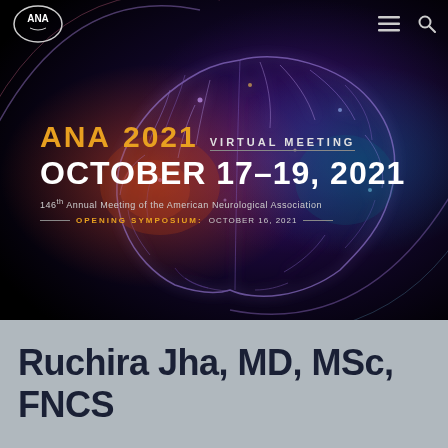[Figure (screenshot): ANA 2021 Virtual Meeting banner with glowing brain illustration on dark background. Navigation bar at top with ANA logo, hamburger menu, and search icon.]
ANA2021 VIRTUAL MEETING OCTOBER 17–19, 2021
146th Annual Meeting of the American Neurological Association
OPENING SYMPOSIUM: OCTOBER 16, 2021
Ruchira Jha, MD, MSc, FNCS